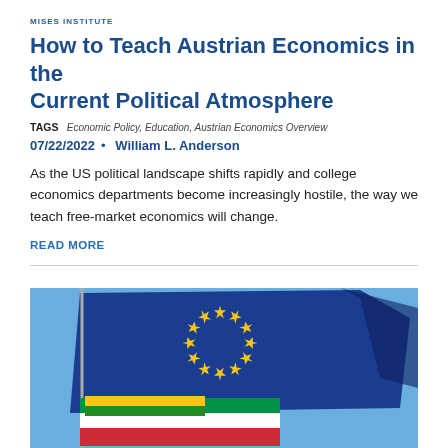MISES INSTITUTE
How to Teach Austrian Economics in the Current Political Atmosphere
TAGS   Economic Policy, Education, Austrian Economics Overview
07/22/2022  •  William L. Anderson
As the US political landscape shifts rapidly and college economics departments become increasingly hostile, the way we teach free-market economics will change.
READ MORE
[Figure (photo): Photograph of the European Union flag flying alongside other colorful flags against a blue sky. The EU flag shows blue background with a circle of yellow stars. Other flags with green, white, red, and yellow stripes are partially visible below.]